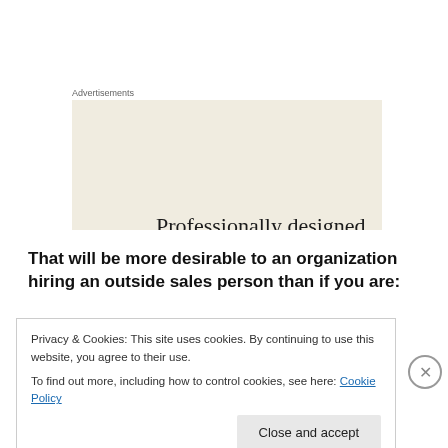Advertisements
[Figure (illustration): Advertisement banner with beige/cream background showing the text 'Professionally designed sites in less than a week' in large serif font, with small white card icons in the bottom right corner.]
That will be more desirable to an organization hiring an outside sales person than if you are:
Privacy & Cookies: This site uses cookies. By continuing to use this website, you agree to their use.
To find out more, including how to control cookies, see here: Cookie Policy
Close and accept